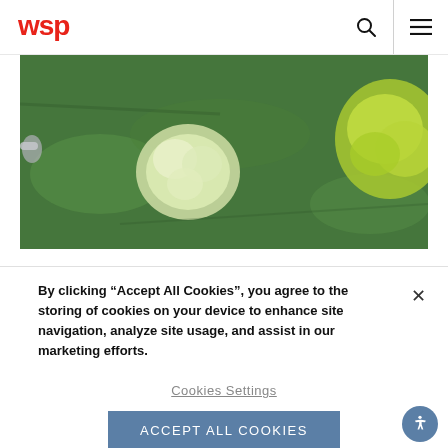wsp
[Figure (photo): Aerial top-down photograph of green grass lawn with two trees — one white-flowered/light green tree and one yellow-green leafy tree — and a person's hand/arm visible at the left edge.]
By clicking “Accept All Cookies”, you agree to the storing of cookies on your device to enhance site navigation, analyze site usage, and assist in our marketing efforts.
Cookies Settings
Accept All Cookies